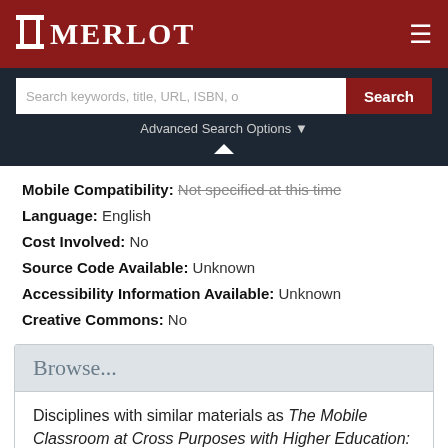MERLOT
Search keywords, title, URL, ISBN, o
Advanced Search Options
Mobile Compatibility:  Not specified at this time
Language:  English
Cost Involved:  No
Source Code Available:  Unknown
Accessibility Information Available:  Unknown
Creative Commons:  No
Browse...
Disciplines with similar materials as The Mobile Classroom at Cross Purposes with Higher Education: Pros and Cons: Do's and